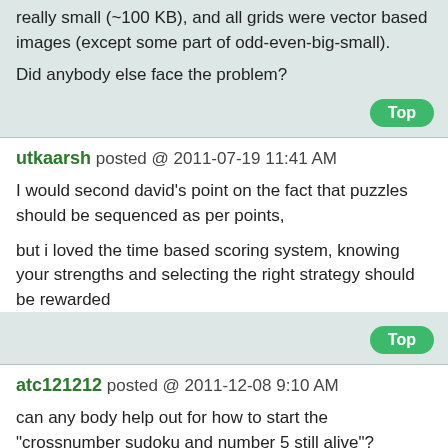really small (~100 KB), and all grids were vector based images (except some part of odd-even-big-small).
Did anybody else face the problem?
utkaarsh posted @ 2011-07-19 11:41 AM
I would second david's point on the fact that puzzles should be sequenced as per points,
but i loved the time based scoring system, knowing your strengths and selecting the right strategy should be rewarded
atc121212 posted @ 2011-12-08 9:10 AM
can any body help out for how to start the "crossnumber sudoku and number 5 still alive"?